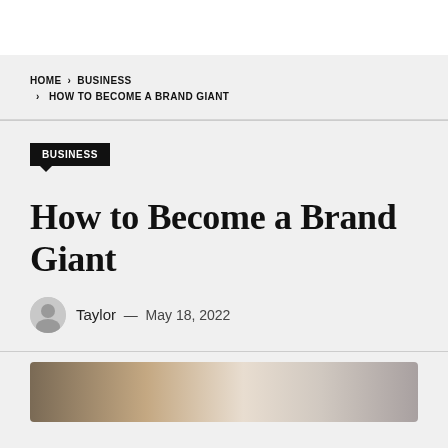HOME > BUSINESS > HOW TO BECOME A BRAND GIANT
BUSINESS
How to Become a Brand Giant
Taylor — May 18, 2022
[Figure (photo): Partial view of a photo showing a brick wall setting, partially visible at the bottom of the page.]